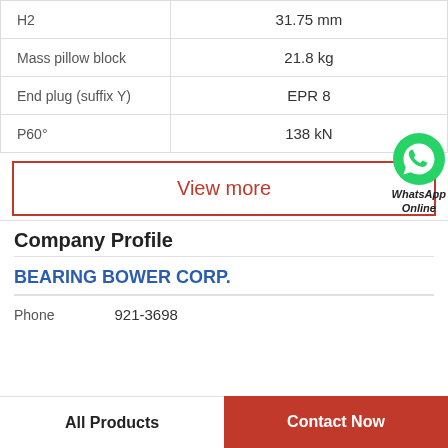| Property | Value |
| --- | --- |
| H2 | 31.75 mm |
| Mass pillow block | 21.8 kg |
| End plug (suffix Y) | EPR 8 |
| P60° | 138 kN |
View more
[Figure (logo): WhatsApp green phone icon with WhatsApp Online text]
Company Profile
BEARING BOWER CORP.
Phone   921-3698
All Products
Contact Now